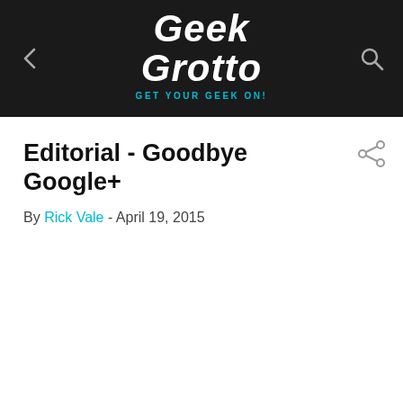Geek Grotto — Get Your Geek On!
Editorial - Goodbye Google+
By Rick Vale - April 19, 2015